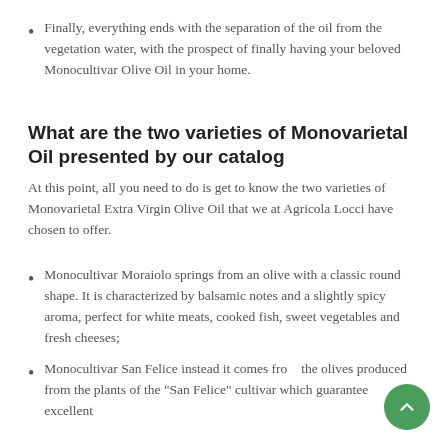Finally, everything ends with the separation of the oil from the vegetation water, with the prospect of finally having your beloved Monocultivar Olive Oil in your home.
What are the two varieties of Monovarietal Oil presented by our catalog
At this point, all you need to do is get to know the two varieties of Monovarietal Extra Virgin Olive Oil that we at Agricola Locci have chosen to offer.
Monocultivar Moraiolo springs from an olive with a classic round shape. It is characterized by balsamic notes and a slightly spicy aroma, perfect for white meats, cooked fish, sweet vegetables and fresh cheeses;
Monocultivar San Felice instead it comes from the olives produced from the plants of the "San Felice" cultivar which guarantee excellent